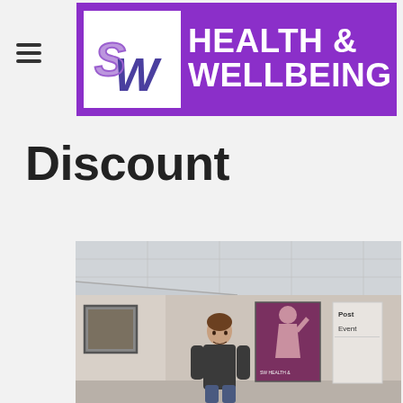SW Health & Wellbeing
Discount
[Figure (photo): Interior photograph of a health and wellbeing clinic reception or gym area, showing a person standing in the foreground, framed artwork on the left wall, a fitness poster in the background, and signs partially visible on the right side reading 'Post' and 'Event'.]